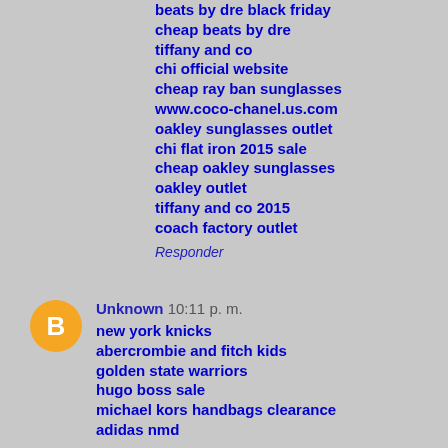beats by dre black friday
cheap beats by dre
tiffany and co
chi official website
cheap ray ban sunglasses
www.coco-chanel.us.com
oakley sunglasses outlet
chi flat iron 2015 sale
cheap oakley sunglasses
oakley outlet
tiffany and co 2015
coach factory outlet
Responder
[Figure (logo): Blogger user avatar — orange circle with white letter B]
Unknown  10:11 p. m.
new york knicks
abercrombie and fitch kids
golden state warriors
hugo boss sale
michael kors handbags clearance
adidas nmd